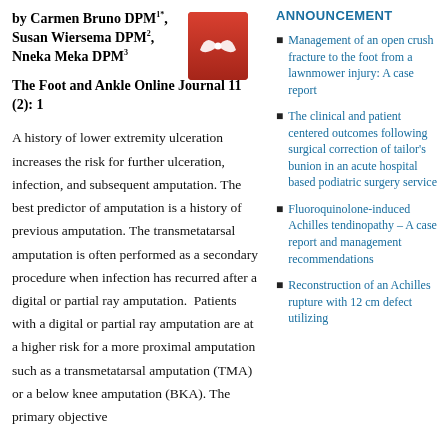by Carmen Bruno DPM1*, Susan Wiersema DPM2, Nneka Meka DPM3
[Figure (logo): Red PDF icon with Adobe Acrobat logo]
The Foot and Ankle Online Journal 11 (2): 1
A history of lower extremity ulceration increases the risk for further ulceration, infection, and subsequent amputation. The best predictor of amputation is a history of previous amputation. The transmetatarsal amputation is often performed as a secondary procedure when infection has recurred after a digital or partial ray amputation.  Patients with a digital or partial ray amputation are at a higher risk for a more proximal amputation such as a transmetatarsal amputation (TMA) or a below knee amputation (BKA). The primary objective of this study is to determine the time from
ANNOUNCEMENT
Management of an open crush fracture to the foot from a lawnmower injury: A case report
The clinical and patient centered outcomes following surgical correction of tailor's bunion in an acute hospital based podiatric surgery service
Fluoroquinolone-induced Achilles tendinopathy – A case report and management recommendations
Reconstruction of an Achilles rupture with 12 cm defect utilizing